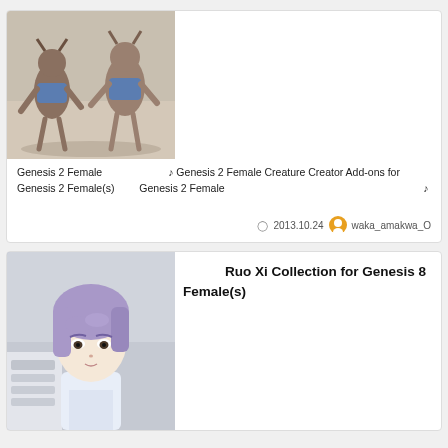[Figure (photo): 3D rendered fantasy creature characters in denim shorts on a sandy surface]
Genesis 2 Female　　　　　　♪ Genesis 2 Female Creature Creator Add-ons for Genesis 2 Female(s) 　Genesis 2 Female　　 　　 　　　　 　　　　　　　　　　♪
2013.10.24  waka_amakwa_O
[Figure (photo): 3D rendered anime-style female character with purple hair in a school uniform]
Ruo Xi Collection for Genesis 8 Female(s)